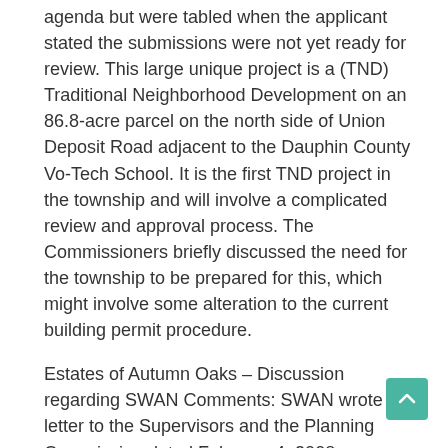agenda but were tabled when the applicant stated the submissions were not yet ready for review. This large unique project is a (TND) Traditional Neighborhood Development on an 86.8-acre parcel on the north side of Union Deposit Road adjacent to the Dauphin County Vo-Tech School. It is the first TND project in the township and will involve a complicated review and approval process. The Commissioners briefly discussed the need for the township to be prepared for this, which might involve some alteration to the current building permit procedure.
Estates of Autumn Oaks – Discussion regarding SWAN Comments: SWAN wrote a letter to the Supervisors and the Planning Commission dated February 4, 2008 containing an evaluation and recommendations relating to the plans for the Estates of Autumn Oaks project to be built at the north end of Patton Drive.
The items addressed in the letter were traffic on Colonial Road, stormwater, lot settings, existing residential...